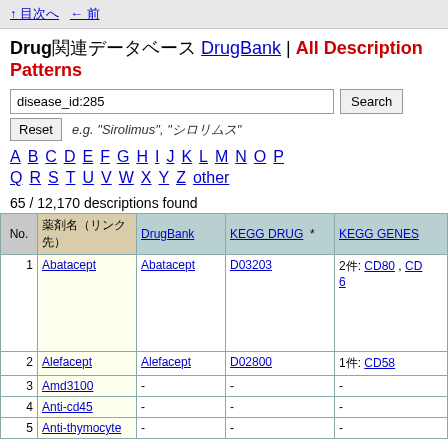↑ 目次へ戻る  ← 前へ
Drug関連データベース DrugBank | All Description Patterns
disease_id:285
e.g. "Sirolimus", "シロリムス"
A B C D E F G H I J K L M N O P Q R S T U V W X Y Z other
65 / 12,170 descriptions found
| No. | 薬剤名（リンク） | DrugBank | KEGG DRUG * | KEGG GENES |
| --- | --- | --- | --- | --- |
| 1 | Abatacept | Abatacept | D03203 | 2件: CD80, CD86 |
| 2 | Alefacept | Alefacept | D02800 | 1件: CD58 |
| 3 | Amd3100 | - | - | - |
| 4 | Anti-cd45 | - | - | - |
| 5 | Anti-thymocyte | - | - | - |